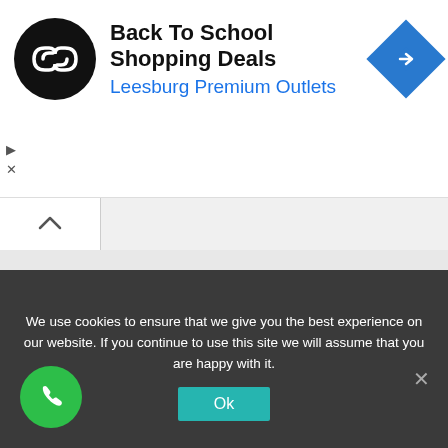[Figure (screenshot): Ad banner with circular black logo, 'Back To School Shopping Deals' title, 'Leesburg Premium Outlets' subtitle in blue, and a blue diamond navigation icon on the right.]
Back To School Shopping Deals
Leesburg Premium Outlets
[Figure (screenshot): Tab bar with chevron/up arrow tab on left side.]
Download our Guide
Download your minimally invasive spine surgery info packet and receive our e-newsletter.
Accreditations
We use cookies to ensure that we give you the best experience on our website. If you continue to use this site we will assume that you are happy with it.
Ok